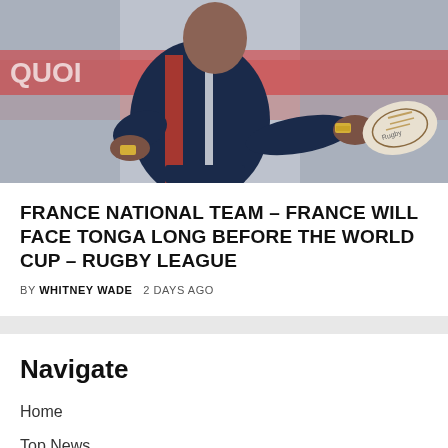[Figure (photo): Rugby player in dark navy blue jersey with red and white stripes passing a rugby ball, action shot on field]
FRANCE NATIONAL TEAM – FRANCE WILL FACE TONGA LONG BEFORE THE WORLD CUP – RUGBY LEAGUE
BY WHITNEY WADE   2 DAYS AGO
Navigate
Home
Top News
World